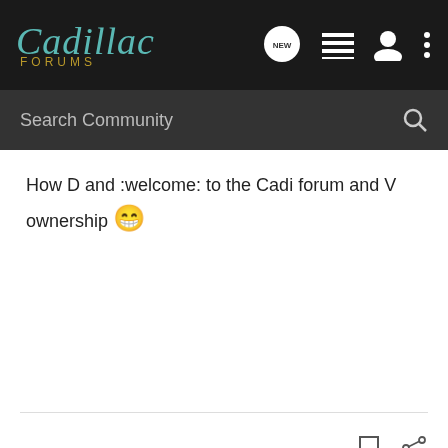Cadillac Forums
Search Community
How D and :welcome: to the Cadi forum and V ownership 😁
JMBCTSV · Registered
Cadillac CTS-V 2004 street, Cadillac CTS-V 2004 Race
Joined May 23, 2007 · 127 Posts
Discussion Starter · #6 · May 25, 2007